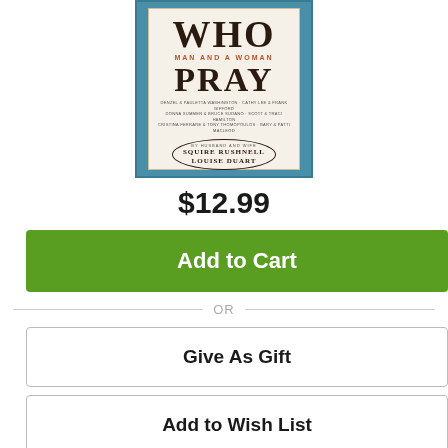[Figure (photo): Book cover for 'Who Man and a Woman Pray' by Squire Rushnell and Louise DuArt, showing partial title with WHO at top and PRAY large, with subtitle 'Man and a Woman', authors listed in an oval, on a teal/cream background.]
$12.99
Add to Cart
OR
Give As Gift
Add to Wish List